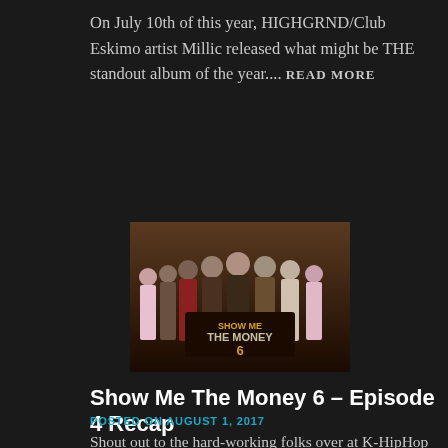On July 10th of this year, HIGHGRND/Club Eskimo artist Millic released what might be THE standout album of the year.... READ MORE
[Figure (photo): Promotional poster for Show Me The Money 6 featuring several contestants standing together with the show logo]
Show Me The Money 6 – Episode 4 Recap
POSTED ON AUGUST 1, 2017
Shout out to the hard-working folks over at K-HipHop Subs as always! This episode, we continue round 3 with Hash Swan vs □□□… READ MORE